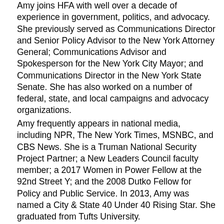Amy joins HFA with well over a decade of experience in government, politics, and advocacy. She previously served as Communications Director and Senior Policy Advisor to the New York Attorney General; Communications Advisor and Spokesperson for the New York City Mayor; and Communications Director in the New York State Senate. She has also worked on a number of federal, state, and local campaigns and advocacy organizations.
Amy frequently appears in national media, including NPR, The New York Times, MSNBC, and CBS News. She is a Truman National Security Project Partner; a New Leaders Council faculty member; a 2017 Women in Power Fellow at the 92nd Street Y; and the 2008 Dutko Fellow for Policy and Public Service. In 2013, Amy was named a City & State 40 Under 40 Rising Star. She graduated from Tufts University.